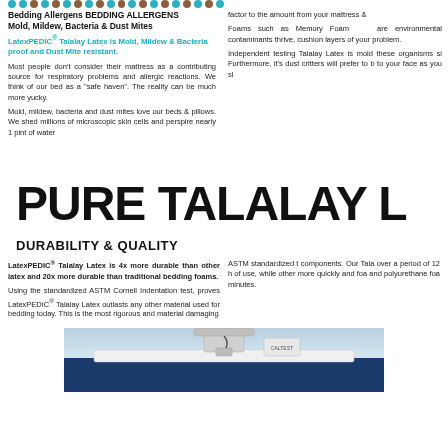Bedding Allergens BEDDING ALLERGENS
Mold, Mildew, Bacteria & Dust Mites
LatexPEDIC® Talalay Latex is Mold, Mildew & Bacteria proof and Dust Mite resistant.
Most people don't consider their mattress as a contributing source for respiratory problems and allergic reactions. We think of our bed as a "safe haven". The reality can be much more yucky.
Mold, mildew, bacteria and dust mites love our beds & pillows. We shed millions of microscopic skin cells and perspire nearly 1 pint of water
factor to the amount from your mattress &
Foams such as Memory Foam are environmental contaminants thrive, cushion layers of your problem.
Independent testing Talalay Latex is mold these organisms si Furthermore, it's dust critters will prefer to b to your face as you sl
PURE TALALAY L
DURABILITY & QUALITY
LatexPEDIC® Talalay Latex is 4x more durable than other latex and 20x more durable than traditional bedding foams.
Using the standardized ASTM Cornell Indentation test, proves LatexPEDIC® Talalay Latex outlasts any other material used for bedding today. This is the most rigorous and material damaging
ASTM standardized t components. Our Tala over a period of 12 h of use, while other more quickly and foa and polyurethane foa minutes.
[Figure (photo): Laboratory testing equipment on a blue surface, appears to show an indentation testing machine with a metal probe/plunger on white foam/latex material]